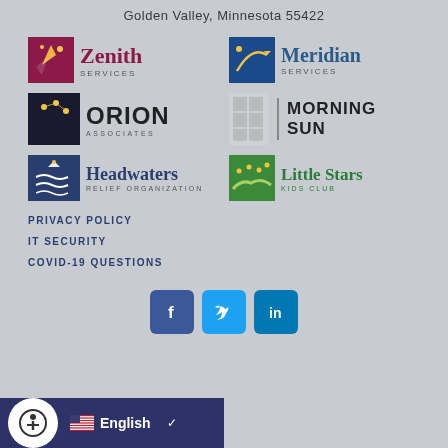Golden Valley, Minnesota 55422
[Figure (logo): Zenith Services logo]
[Figure (logo): Meridian Services logo]
[Figure (logo): Orion Associates logo]
[Figure (logo): Morning Sun logo]
[Figure (logo): Headwaters Relief Organization logo]
[Figure (logo): Little Stars Kids Club logo]
PRIVACY POLICY
IT SECURITY
COVID-19 QUESTIONS
[Figure (infographic): Social media icons: Facebook, Twitter, LinkedIn]
English